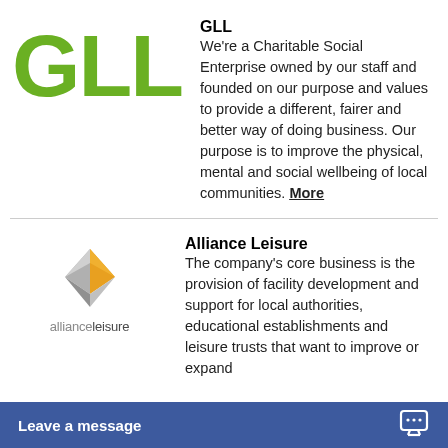[Figure (logo): GLL logo — large green bold letters 'GLL']
GLL
We're a Charitable Social Enterprise owned by our staff and founded on our purpose and values to provide a different, fairer and better way of doing business. Our purpose is to improve the physical, mental and social wellbeing of local communities. More
[Figure (logo): Alliance Leisure logo — 3D geometric diamond shape in grey and orange, with text 'allianceleisure' below]
Alliance Leisure
The company's core business is the provision of facility development and support for local authorities, educational establishments and leisure trusts that want to improve or expand
Leave a message